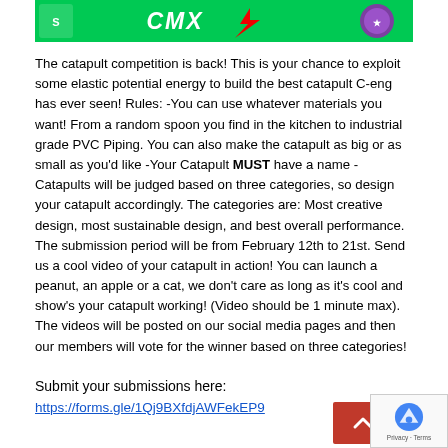[Figure (illustration): Green banner with CMX logo/text, red graphic element, and purple circular badge on the right]
The catapult competition is back! This is your chance to exploit some elastic potential energy to build the best catapult C-eng has ever seen! Rules: -You can use whatever materials you want! From a random spoon you find in the kitchen to industrial grade PVC Piping. You can also make the catapult as big or as small as you'd like -Your Catapult MUST have a name -Catapults will be judged based on three categories, so design your catapult accordingly. The categories are: Most creative design, most sustainable design, and best overall performance. The submission period will be from February 12th to 21st. Send us a cool video of your catapult in action! You can launch a peanut, an apple or a cat, we don't care as long as it's cool and show's your catapult working! (Video should be 1 minute max). The videos will be posted on our social media pages and then our members will vote for the winner based on three categories!
Submit your submissions here:
https://forms.gle/1Qj9BXfdjAWFekEP9